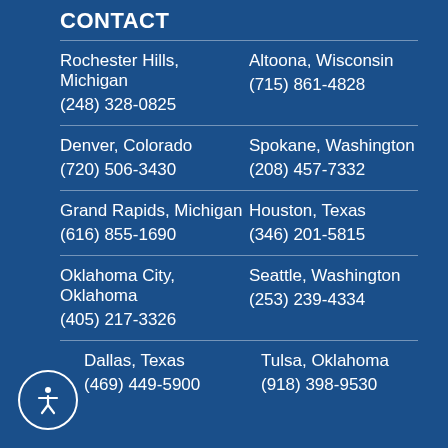CONTACT
Rochester Hills, Michigan
(248) 328-0825
Altoona, Wisconsin
(715) 861-4828
Denver, Colorado
(720) 506-3430
Spokane, Washington
(208) 457-7332
Grand Rapids, Michigan
(616) 855-1690
Houston, Texas
(346) 201-5815
Oklahoma City, Oklahoma
(405) 217-3326
Seattle, Washington
(253) 239-4334
Dallas, Texas
(469) 449-5900
Tulsa, Oklahoma
(918) 398-9530